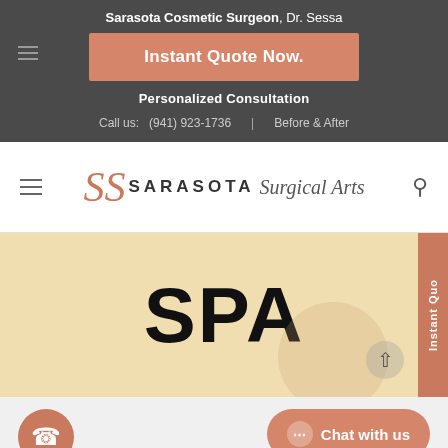Sarasota Cosmetic Surgeon, Dr. Sessa
Instant Quote Now.
Personalized Consultation
Call us:  (941) 923-1736    Before & After
[Figure (logo): SS Sarasota Surgical Arts logo with stylized SS monogram in salmon/coral color and cursive Surgical Arts text]
SPA
Sarasota Surgical
Chat with us